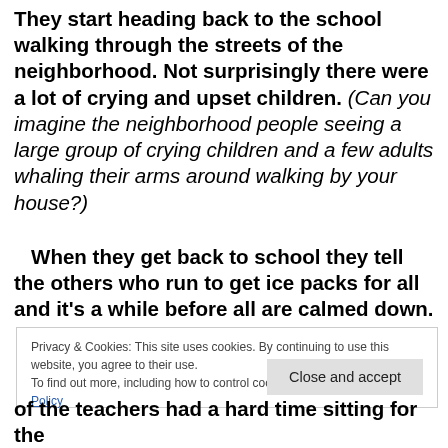They start heading back to the school walking through the streets of the neighborhood. Not surprisingly there were a lot of crying and upset children. (Can you imagine the neighborhood people seeing a large group of crying children and a few adults whaling their arms around walking by your house?)
When they get back to school they tell the others who run to get ice packs for all and it's a while before all are calmed down.
Privacy & Cookies: This site uses cookies. By continuing to use this website, you agree to their use.
To find out more, including how to control cookies, see here: Cookie Policy
Close and accept
of the teachers had a hard time sitting for the